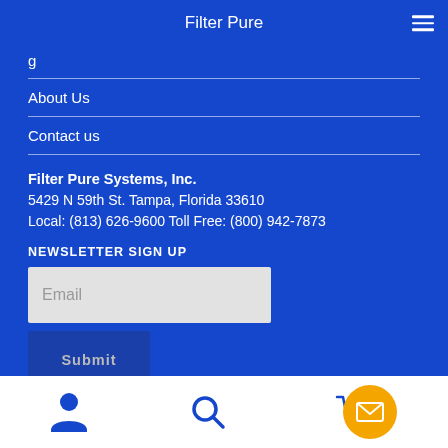Filter Pure
About Us
Contact us
Filter Pure Systems, Inc.
5429 N 59th St. Tampa, Florida 33610
Local: (813) 626-9600 Toll Free: (800) 942-7873
NEWSLETTER SIGN UP
[Figure (screenshot): Email input field and Submit button for newsletter signup form]